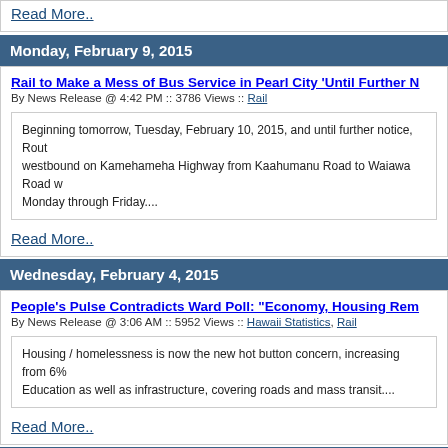Read More..
Monday, February 9, 2015
Rail to Make a Mess of Bus Service in Pearl City 'Until Further N
By News Release @ 4:42 PM :: 3786 Views :: Rail
Beginning tomorrow, Tuesday, February 10, 2015, and until further notice, Route westbound on Kamehameha Highway from Kaahumanu Road to Waiawa Road w Monday through Friday....
Read More..
Wednesday, February 4, 2015
People's Pulse Contradicts Ward Poll: "Economy, Housing Rem
By News Release @ 3:06 AM :: 5952 Views :: Hawaii Statistics, Rail
Housing / homelessness is now the new hot button concern, increasing from 6% Education as well as infrastructure, covering roads and mass transit....
Read More..
Tuesday, February 3, 2015